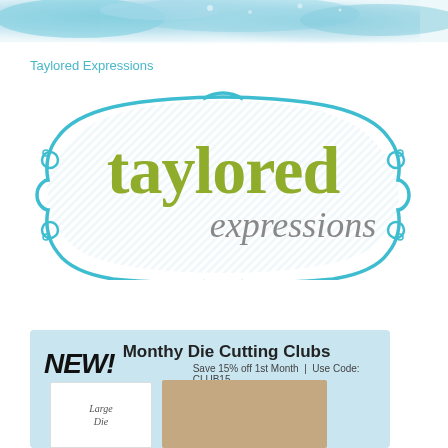[Figure (illustration): Blue watercolor paint splash banner across the top of the page]
Taylored Expressions
[Figure (logo): Taylored Expressions logo: decorative teal/turquoise ornate frame border with diagonal stripe pattern inside. The word 'taylored' in large olive-green handwritten/brush font and 'expressions' in gray handwritten font below it.]
[Figure (infographic): Advertisement banner with light blue background. 'NEW!' in large bold italic black text followed by 'Monthy Die Cutting Clubs' in bold dark text. Subtext reads 'Save 15% off 1st Month | Use Code: CLUB15'. Below are product card images including a white card labeled 'Large Die' and a tan/brown card.]